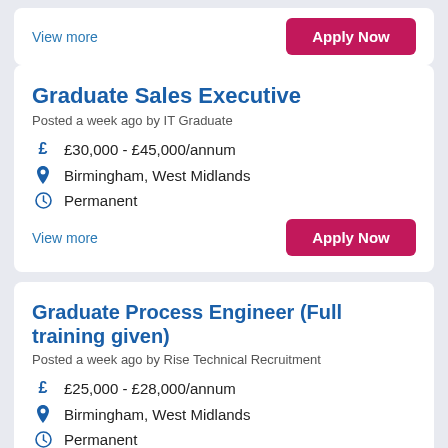View more
Apply Now
Graduate Sales Executive
Posted a week ago by IT Graduate
£30,000 - £45,000/annum
Birmingham, West Midlands
Permanent
View more
Apply Now
Graduate Process Engineer (Full training given)
Posted a week ago by Rise Technical Recruitment
£25,000 - £28,000/annum
Birmingham, West Midlands
Permanent